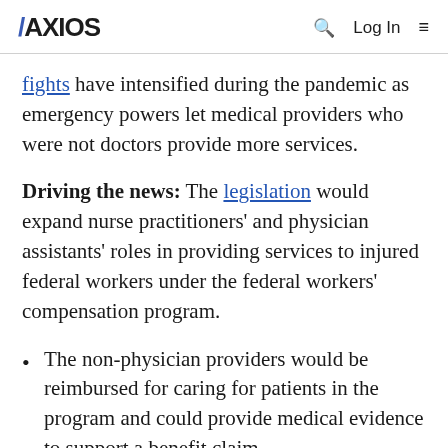AXIOS  Q  Log In  ≡
fights have intensified during the pandemic as emergency powers let medical providers who were not doctors provide more services.
Driving the news: The legislation would expand nurse practitioners' and physician assistants' roles in providing services to injured federal workers under the federal workers' compensation program.
The non-physician providers would be reimbursed for caring for patients in the program and could provide medical evidence to support a benefit claim.
The bipartisan bill is due to be brought up